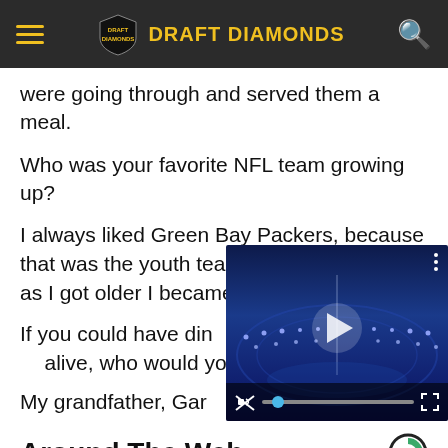DRAFT DIAMONDS
were going through and served them a meal.
Who was your favorite NFL team growing up?
I always liked Green Bay Packers, because that was the youth team that I played for, but as I got older I became a Colts fan.
[Figure (screenshot): Embedded video player showing a stadium lit in blue lights with play button, mute, progress bar, and fullscreen controls]
If you could have din[ner with anyone dead or] alive, who would you[…]
My grandfather, Gar[…]
Around The Web